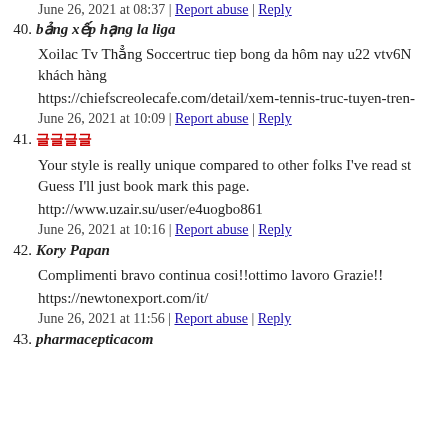June 26, 2021 at 08:37 | Report abuse | Reply
40. bảng xếp hạng la liga
Xoilac Tv Thẳng Soccertruc tiep bong da hôm nay u22 vtv6N... khách hàng
https://chiefscreolecafe.com/detail/xem-tennis-truc-tuyen-tren-...
June 26, 2021 at 10:09 | Report abuse | Reply
41. 글글글글
Your style is really unique compared to other folks I've read st... Guess I'll just book mark this page.
http://www.uzair.su/user/e4uogbo861
June 26, 2021 at 10:16 | Report abuse | Reply
42. Kory Papan
Complimenti bravo continua cosi!!ottimo lavoro Grazie!!
https://newtonexport.com/it/
June 26, 2021 at 11:56 | Report abuse | Reply
43. pharmacepticacom